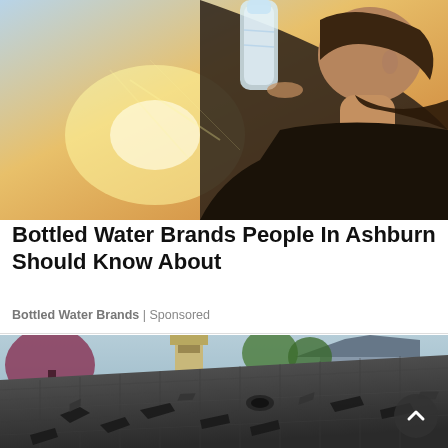[Figure (photo): Person drinking from a clear water bottle against a bright backlit sunset sky, profile view]
Bottled Water Brands People In Ashburn Should Know About
Bottled Water Brands | Sponsored
[Figure (photo): Damaged roof with broken and lifted shingles, suburban house in background with pink flowering tree and green trees, scroll-up navigation button overlaid]